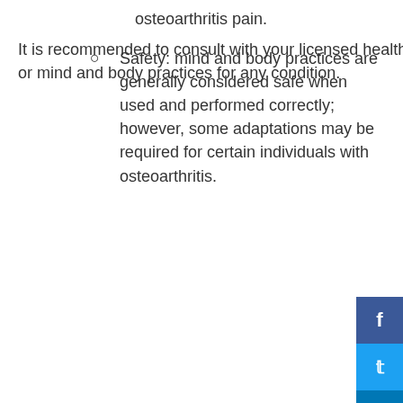osteoarthritis pain.
Safety: mind and body practices are generally considered safe when used and performed correctly; however, some adaptations may be required for certain individuals with osteoarthritis.
It is recommended to consult with your licensed healthcare provider when considering natural products or mind and body practices for any condition.